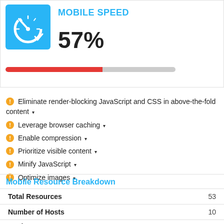[Figure (infographic): Mobile speed score card with speedometer icon, score of 57%, and a progress bar showing red fill at 57% and grey remainder]
MOBILE SPEED
57%
Eliminate render-blocking JavaScript and CSS in above-the-fold content
Leverage browser caching
Enable compression
Prioritize visible content
Minify JavaScript
Optimize images
Mobile Resource Breakdown
|  |  |
| --- | --- |
| Total Resources | 53 |
| Number of Hosts | 10 |
| Static Resources | 28 |